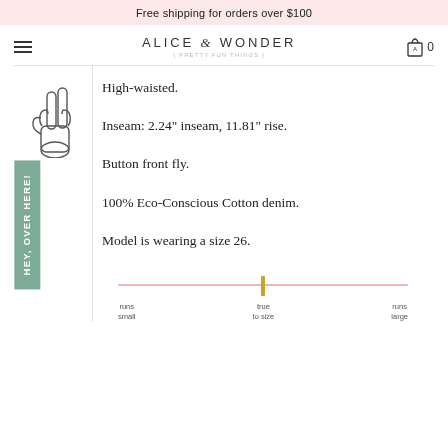Free shipping for orders over $100
[Figure (logo): Alice & Wonder logo with tagline 'PRETTY FUN THINGS']
High-waisted.
Inseam: 2.24" inseam, 11.81" rise.
Button front fly.
100% Eco-Conscious Cotton denim.
Model is wearing a size 26.
[Figure (infographic): Fit scale showing 'runs small', 'true to size' (marked with gold indicator), 'runs large']